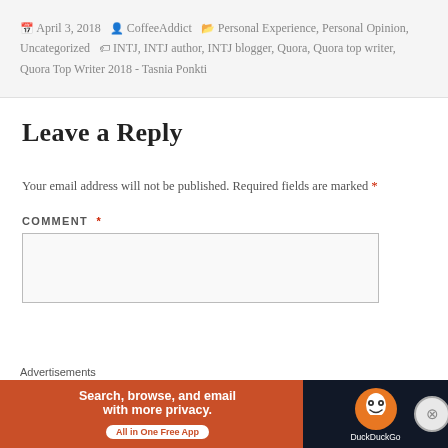April 3, 2018  CoffeeAddict  Personal Experience, Personal Opinion, Uncategorized  INTJ, INTJ author, INTJ blogger, Quora, Quora top writer, Quora Top Writer 2018 - Tasnia Ponkti
Leave a Reply
Your email address will not be published. Required fields are marked *
COMMENT *
[Figure (screenshot): DuckDuckGo advertisement banner: orange background with text 'Search, browse, and email with more privacy. All in One Free App' and DuckDuckGo logo on dark background]